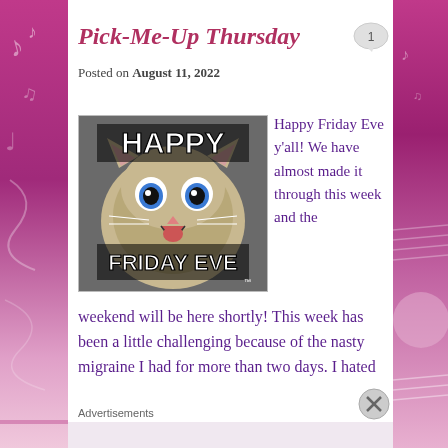Pick-Me-Up Thursday
Posted on August 11, 2022
[Figure (photo): Meme image of an excited cat with wide blue eyes and open mouth. Text overlay reads 'HAPPY' at the top and 'FRIDAY EVE' at the bottom in bold white Impact font on dark background.]
Happy Friday Eve y'all! We have almost made it through this week and the weekend will be here shortly! This week has been a little challenging because of the nasty migraine I had for more than two days. I hated
Advertisements